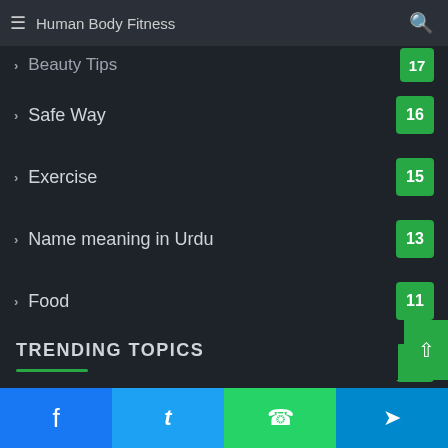Human Body Fitness
Beauty Tips 17
Safe Way 16
Exercise 15
Name meaning in Urdu 13
Food 11
Beauty Tips 8
Habits 5
Health Questions in urdu 1
Mind Game 1
TRENDING TOPICS